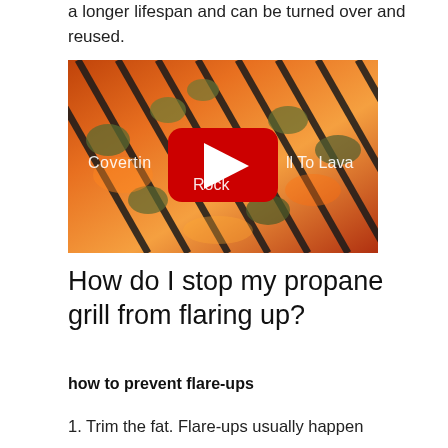a longer lifespan and can be turned over and reused.
[Figure (screenshot): Video thumbnail showing a grill with lava rocks glowing with fire, with a YouTube play button overlay. Text on the thumbnail reads 'Converting Grill To Lava Rock'.]
How do I stop my propane grill from flaring up?
how to prevent flare-ups
1. Trim the fat. Flare-ups usually happen